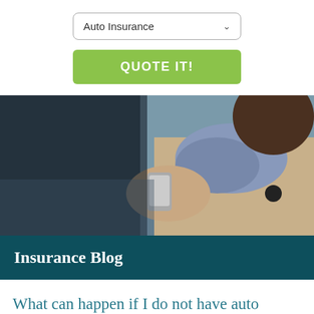[Figure (screenshot): Dropdown selector showing 'Auto Insurance' with a chevron arrow on the right, styled with rounded border]
[Figure (screenshot): Green 'QUOTE IT!' button]
[Figure (photo): Woman in a beige coat and blue scarf using a smartphone, with a dark overlay on the left side of the image]
Insurance Blog
What can happen if I do not have auto insurance in Texas?